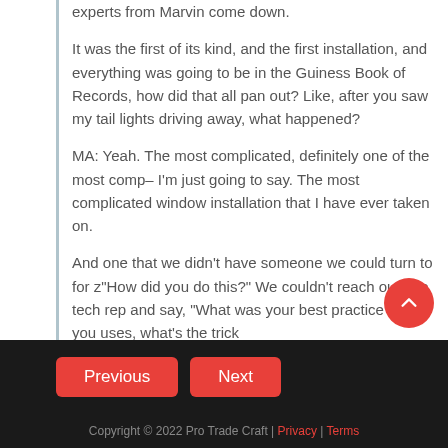experts from Marvin come down.
It was the first of its kind, and the first installation, and everything was going to be in the Guiness Book of Records, how did that all pan out? Like, after you saw my tail lights driving away, what happened?
MA: Yeah. The most complicated, definitely one of the most comp– I'm just going to say. The most complicated window installation that I have ever taken on.
And one that we didn't have someone we could turn to for z"How did you do this?" We couldn't reach out to a tech rep and say, "What was your best practice that you uses, what's the trick
Previous | Next | Copyright © 2022 Pro Trade Craft | Privacy | Terms